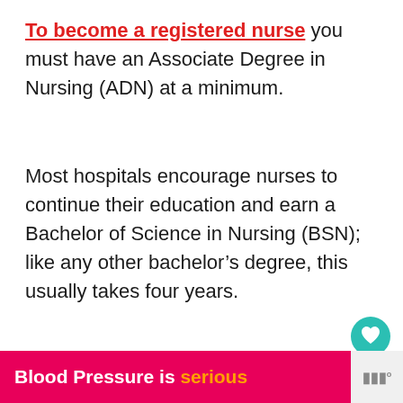To become a registered nurse you must have an Associate Degree in Nursing (ADN) at a minimum.
Most hospitals encourage nurses to continue their education and earn a Bachelor of Science in Nursing (BSN); like any other bachelor's degree, this usually takes four years.
[Figure (other): Heart/favorite button (teal circle with white heart icon) and share button (light circle with share icon)]
[Figure (other): What's Next card showing thumbnail image of books and text 'Do Nurses Have to Do...']
Blood Pressure is serious